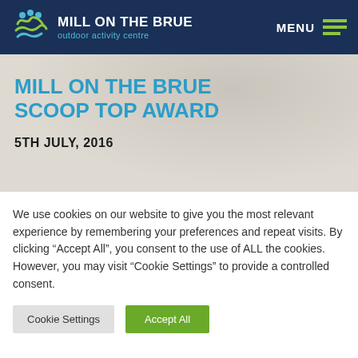MILL ON THE BRUE outdoor activity centre | MENU
MILL ON THE BRUE SCOOP TOP AWARD
5TH JULY, 2016
We use cookies on our website to give you the most relevant experience by remembering your preferences and repeat visits. By clicking “Accept All”, you consent to the use of ALL the cookies. However, you may visit “Cookie Settings” to provide a controlled consent.
Cookie Settings | Accept All